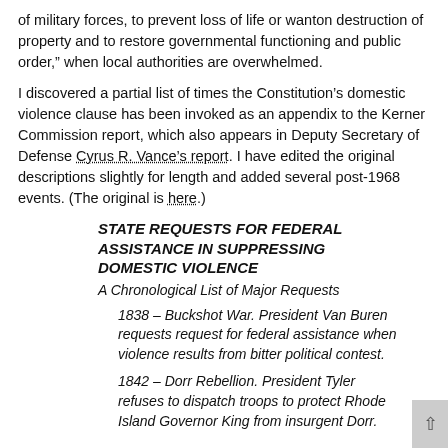of military forces, to prevent loss of life or wanton destruction of property and to restore governmental functioning and public order,” when local authorities are overwhelmed.
I discovered a partial list of times the Constitution’s domestic violence clause has been invoked as an appendix to the Kerner Commission report, which also appears in Deputy Secretary of Defense Cyrus R. Vance’s report. I have edited the original descriptions slightly for length and added several post-1968 events. (The original is here.)
STATE REQUESTS FOR FEDERAL ASSISTANCE IN SUPPRESSING DOMESTIC VIOLENCE
A Chronological List of Major Requests
1838 – Buckshot War. President Van Buren requests request for federal assistance when violence results from bitter political contest.
1842 – Dorr Rebellion. President Tyler refuses to dispatch troops to protect Rhode Island Governor King from insurgent Dorr.